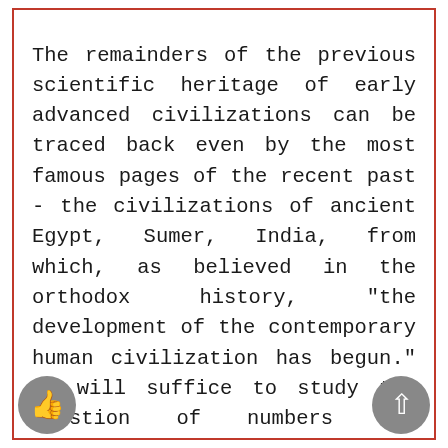The remainders of the previous scientific heritage of early advanced civilizations can be traced back even by the most famous pages of the recent past - the civilizations of ancient Egypt, Sumer, India, from which, as believed in the orthodox history, "the development of the contemporary human civilization has begun." It will suffice to study the question of numbers and calculations they used, tables, equipment and technologies they had. All this presupposes the knowledge of such sciences as algebra, geometry, astronomy, physics and chemistry. Greeks, who are considered to be an authority by